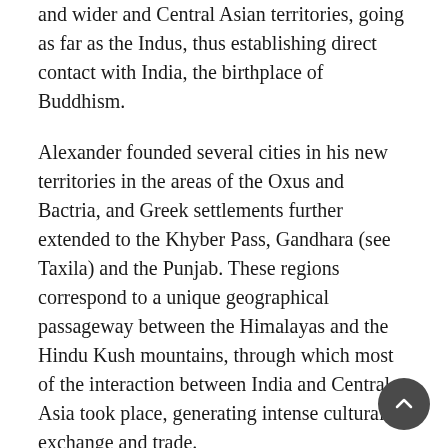and wider and Central Asian territories, going as far as the Indus, thus establishing direct contact with India, the birthplace of Buddhism.
Alexander founded several cities in his new territories in the areas of the Oxus and Bactria, and Greek settlements further extended to the Khyber Pass, Gandhara (see Taxila) and the Punjab. These regions correspond to a unique geographical passageway between the Himalayas and the Hindu Kush mountains, through which most of the interaction between India and Central Asia took place, generating intense cultural exchange and trade.
Following Alexander's death on June 10, 323 BCE, the Diadochoi (successors) founded their own kingdoms in Asia Minor and Central Asia. General Seleucus set up the Seleucid Kingdom, which extended as far as India. Later, the Eastern part of the Seleucid Kingdom broke away to form the Greco-Bactrian Kingdom (3rd–2nd century